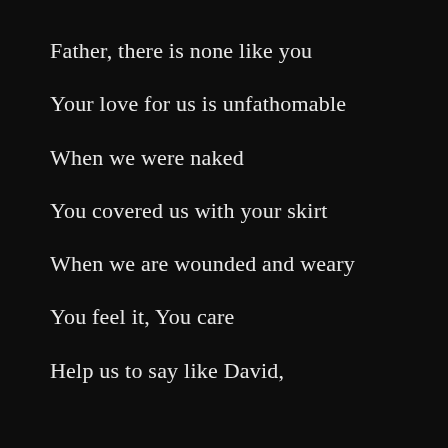Father, there is none like you
Your love for us is unfathomable
When we were naked
You covered us with your skirt
When we are wounded and weary
You feel it, You care
Help us to say like David,